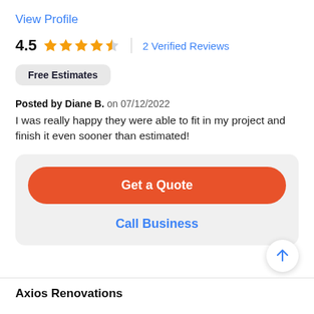View Profile
4.5  ★★★★☆  |  2 Verified Reviews
Free Estimates
Posted by Diane B. on 07/12/2022
I was really happy they were able to fit in my project and finish it even sooner than estimated!
Get a Quote
Call Business
Axios Renovations